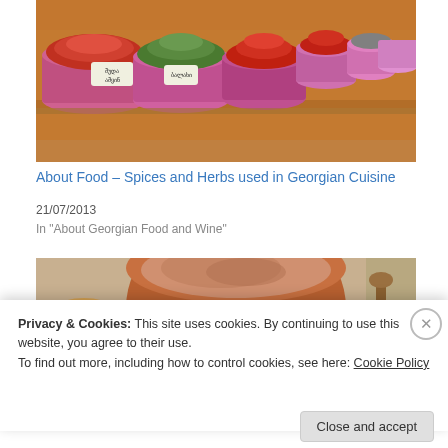[Figure (photo): Photo of colorful spices and herbs in pink plastic buckets at a Georgian market, with handwritten price tags in Georgian script]
About Food – Spices and Herbs used in Georgian Cuisine
21/07/2013
In "About Georgian Food and Wine"
[Figure (photo): Partial photo of a clay pot with meat/food, background with tablecloth]
Privacy & Cookies: This site uses cookies. By continuing to use this website, you agree to their use.
To find out more, including how to control cookies, see here: Cookie Policy
Close and accept